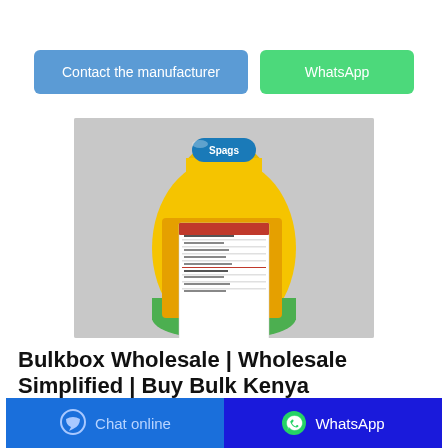[Figure (other): Button: Contact the manufacturer (blue rounded rectangle)]
[Figure (other): Button: WhatsApp (green rounded rectangle)]
[Figure (photo): Product photo: side view of a yellow/orange branded bulk food bag (Spag brand) showing nutritional information label on a grey background]
Bulkbox Wholesale | Wholesale Simplified | Buy Bulk Kenya
BulkBox Wholesale is an e-commerce wholesale
[Figure (other): Bottom bar: Chat online button (blue) and WhatsApp button (dark blue) with icons]